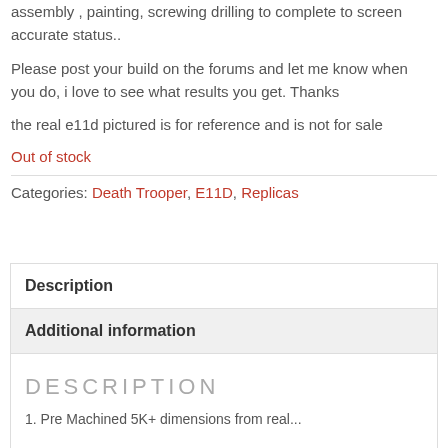assembly , painting, screwing drilling to complete to screen accurate status..
Please post your build on the forums and let me know when  you do, i love to see what results you get. Thanks
the real e11d pictured is for reference and is not for sale
Out of stock
Categories: Death Trooper, E11D, Replicas
Description
Additional information
DESCRIPTION
1. Pre Machined 5K+ dimensions from real...